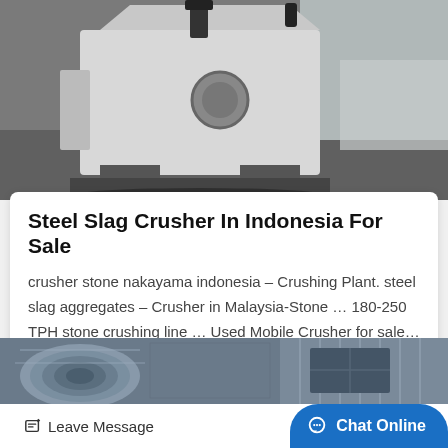[Figure (photo): Photo of a white steel slag crusher machine sitting on a dark floor in an industrial setting.]
Steel Slag Crusher In Indonesia For Sale
crusher stone nakayama indonesia – Crushing Plant. steel slag aggregates – Crusher in Malaysia-Stone … 180-250 TPH stone crushing line … Used Mobile Crusher for sale…
Get Price
[Figure (photo): Partial photo of industrial machinery or sheet metal coils in a warehouse with corrugated metal walls.]
Leave Message
Chat Online